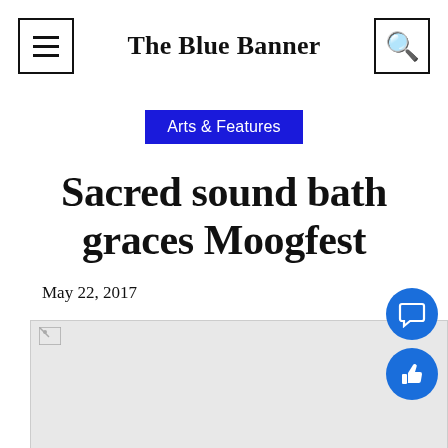The Blue Banner
Arts & Features
Sacred sound bath graces Moogfest
May 22, 2017
[Figure (photo): Article image placeholder (broken image)]